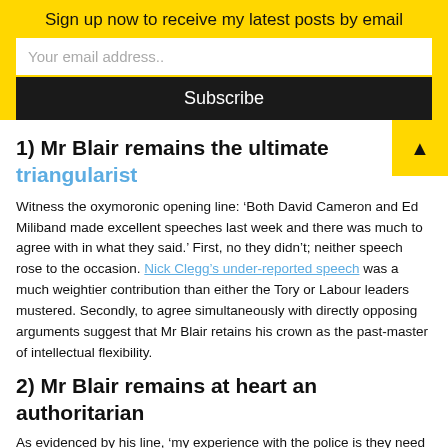Sign up now to receive my latest posts by email
Your email address..
Subscribe
1) Mr Blair remains the ultimate triangularist
Witness the oxymoronic opening line: ‘Both David Cameron and Ed Miliband made excellent speeches last week and there was much to agree with in what they said.’ First, no they didn’t; neither speech rose to the occasion. Nick Clegg’s under-reported speech was a much weightier contribution than either the Tory or Labour leaders mustered. Secondly, to agree simultaneously with directly opposing arguments suggest that Mr Blair retains his crown as the past-master of intellectual flexibility.
2) Mr Blair remains at heart an authoritarian
As evidenced by his line, ‘my experience with the police is they need 100% backing’. Like all other professionals the police deserve respect and understanding for the immensely difficult job that they do. But